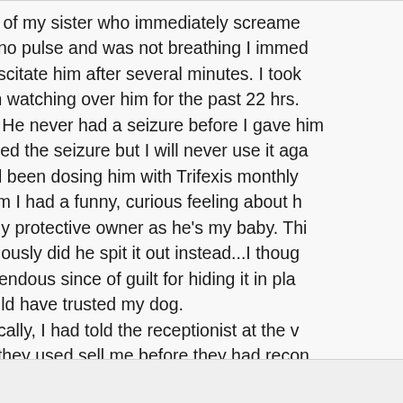front of my sister who immediately screamed. He had no pulse and was not breathing I immediately resuscitate him after several minutes. I took been watching over him for the past 22 hrs. one. He never had a seizure before I gave him caused the seizure but I will never use it again I had been dosing him with Trifexis monthly to him I had a funny, curious feeling about h overly protective owner as he's my baby. Thi previously did he spit it out instead...I thoug tremendous since of guilt for hiding it in pla should have trusted my dog. Ironically, I had told the receptionist at the v that they used sell me before they had recom that they only sell the other product now for trusted her and believed her. I should have t hope there is no long term effects.
Nove